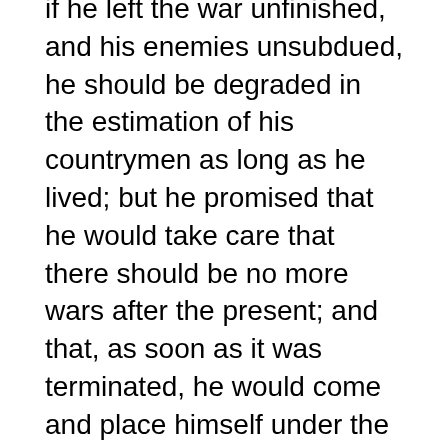if he left the war unfinished, and his enemies unsubdued, he should be degraded in the estimation of his countrymen as long as he lived; but he promised that he would take care that there should be no more wars after the present; and that, as soon as it was terminated, he would come and place himself under the instruction of the teachers. He informed the missionaries that he had met the enemy early in the morning, when an encounter ensued, in which he drove them into the mountains, burnt their houses, and desolated their plantations, the destructive blaze of which had been seen. He took his leave, promising to come off in the morning, with his largest and best canoe, to convey them on shore.